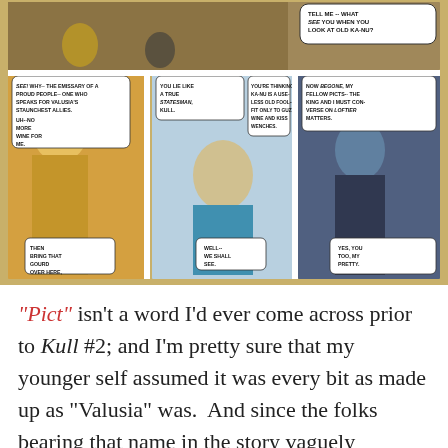[Figure (illustration): Comic book panels showing scenes with Kull and other characters including an elderly man and a woman. Speech bubbles with dialogue about emissaries, wine, statesman, and Picts.]
"Pict" isn't a word I'd ever come across prior to Kull #2; and I'm pretty sure that my younger self assumed it was every bit as made up as "Valusia" was.  And since the folks bearing that name in the story vaguely resembled Native Americans of an earlier era, and lived in the far West (according to the map of Kull's world I found in the back of the issue*) I came to